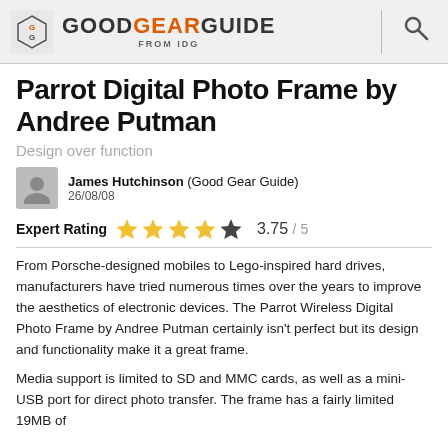GOODGEARGUIDE FROM IDG
Parrot Digital Photo Frame by Andree Putman
Design over function
James Hutchinson (Good Gear Guide) 26/08/08
Expert Rating 3.75 / 5
From Porsche-designed mobiles to Lego-inspired hard drives, manufacturers have tried numerous times over the years to improve the aesthetics of electronic devices. The Parrot Wireless Digital Photo Frame by Andree Putman certainly isn't perfect but its design and functionality make it a great frame.
Media support is limited to SD and MMC cards, as well as a mini-USB port for direct photo transfer. The frame has a fairly limited 19MB of